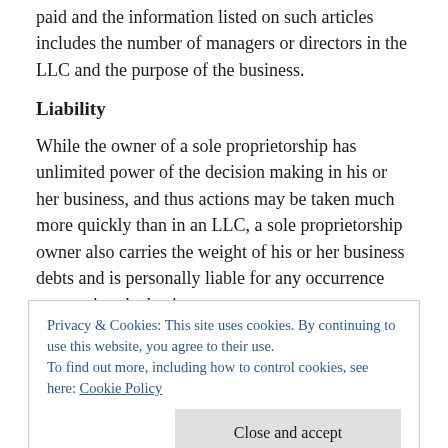paid and the information listed on such articles includes the number of managers or directors in the LLC and the purpose of the business.
Liability
While the owner of a sole proprietorship has unlimited power of the decision making in his or her business, and thus actions may be taken much more quickly than in an LLC, a sole proprietorship owner also carries the weight of his or her business debts and is personally liable for any occurrence concerning the business.
Privacy & Cookies: This site uses cookies. By continuing to use this website, you agree to their use.
To find out more, including how to control cookies, see here: Cookie Policy
properly set up, individual owner's assets can be protected